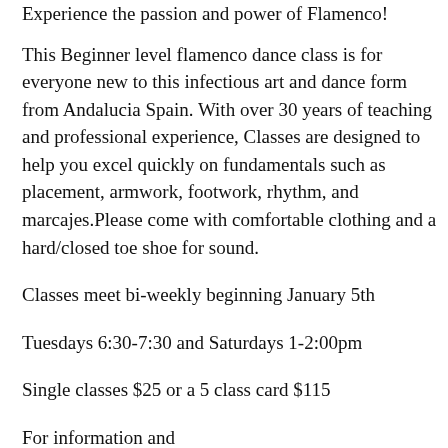Experience the passion and power of Flamenco!
This Beginner level flamenco dance class is for everyone new to this infectious art and dance form from Andalucia Spain. With over 30 years of teaching and professional experience, Classes are designed to help you excel quickly on fundamentals such as placement, armwork, footwork, rhythm, and marcajes.Please come with comfortable clothing and a hard/closed toe shoe for sound.
Classes meet bi-weekly beginning January 5th
Tuesdays 6:30-7:30 and Saturdays 1-2:00pm
Single classes $25 or a 5 class card $115
For information and